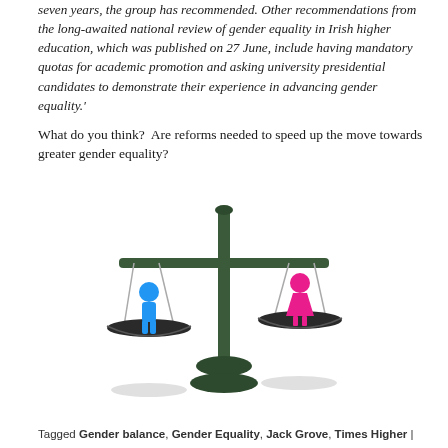seven years, the group has recommended. Other recommendations from the long-awaited national review of gender equality in Irish higher education, which was published on 27 June, include having mandatory quotas for academic promotion and asking university presidential candidates to demonstrate their experience in advancing gender equality.'
What do you think? Are reforms needed to speed up the move towards greater gender equality?
[Figure (illustration): A scale/balance illustration with a blue male figure on the left pan and a pink female figure on the right pan, representing gender equality. The scale is balanced with both figures on equal pans, rendered against a white background.]
Tagged Gender balance, Gender Equality, Jack Grove, Times Higher |